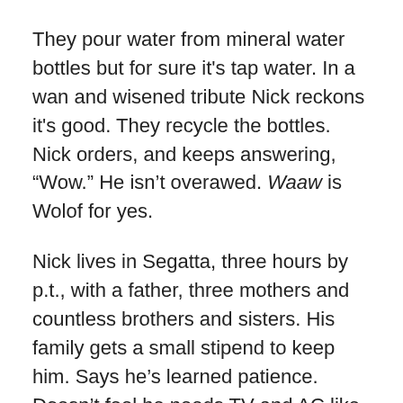They pour water from mineral water bottles but for sure it's tap water. In a wan and wisened tribute Nick reckons it's good. They recycle the bottles. Nick orders, and keeps answering, “Wow.” He isn’t overawed. Waaw is Wolof for yes.
Nick lives in Segatta, three hours by p.t., with a father, three mothers and countless brothers and sisters. His family gets a small stipend to keep him. Says he’s learned patience. Doesn’t feel he needs TV and AC like he used to. Nowadays does a lot of waiting. Reading. Is working on digging latrines for the locals.
He came here to plant things, an agricultural volunteer, but because of the ongoing drought his assigned mission is pointless. Barren as it is out there, as soon as they put